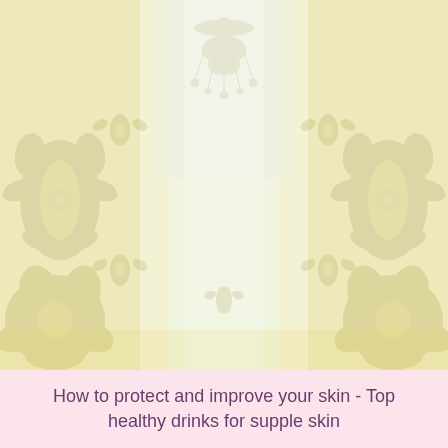[Figure (illustration): Ornate damask/wallpaper background pattern in pale cream, yellow, and light blue tones with symmetrical floral and baroque motifs, vertical stripe layout, fading to lighter center.]
How to protect and improve your skin - Top healthy drinks for supple skin